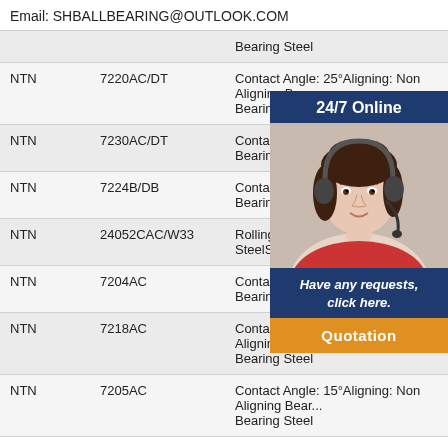Email: SHBALLBEARING@OUTLOOK.COM
| Brand | Model | Description |
| --- | --- | --- |
|  |  | Bearing Steel |
| NTN | 7220AC/DT | Contact Angle: 25°Aligning: Non Aligning Bearing Steel |
| NTN | 7230AC/DT | Contact Angle: 15°Aligning: Non Aligning Bearing Steel |
| NTN | 7224B/DB | Contact Angle: 25°Aligning: Non Aligning Bearing Steel |
| NTN | 24052CAC/W33 | Rolling Body: Roller Bearing SteelSpherical: Aligning |
| NTN | 7204AC | Contact Angle: 15°Aligning: Non Aligning Bearing Steel |
| NTN | 7218AC | Contact Angle: 15°Aligning: Non Aligning Bearing Steel |
| NTN | 7205AC | Contact Angle: 15°Aligning: Non Aligning Bearing Steel |
[Figure (illustration): Customer service representative with headset, overlaid on table. Contains '24/7 Online' header, photo, 'Have any requests, click here.' text, and 'Quotation' button.]